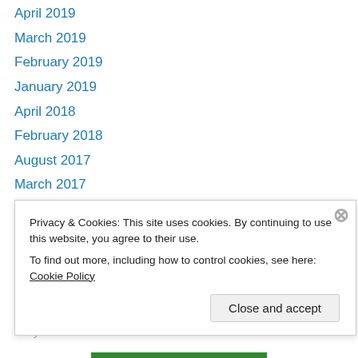April 2019
March 2019
February 2019
January 2019
April 2018
February 2018
August 2017
March 2017
January 2017
December 2016
November 2016
July 2016
June 2015
May 201…
Privacy & Cookies: This site uses cookies. By continuing to use this website, you agree to their use.
To find out more, including how to control cookies, see here: Cookie Policy
Close and accept